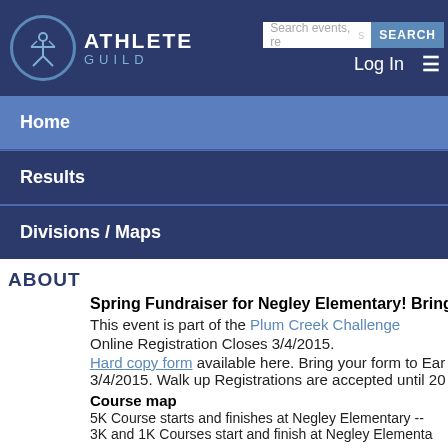[Figure (logo): Athlete Guild logo with circle figure and text ATHLETE GUILD]
Search events, re... SEARCH | Log In
Home
Results
Divisions / Maps
ABOUT
Spring Fundraiser for Negley Elementary!  Bring the w
This event is part of the Plum Creek Challenge
Online Registration Closes 3/4/2015.
Hard copy form available here.  Bring your form to Ear 3/4/2015.  Walk up Registrations are accepted until 20
Course map
5K Course starts and finishes at Negley Elementary --
3K and 1K Courses start and finish at Negley Elementa